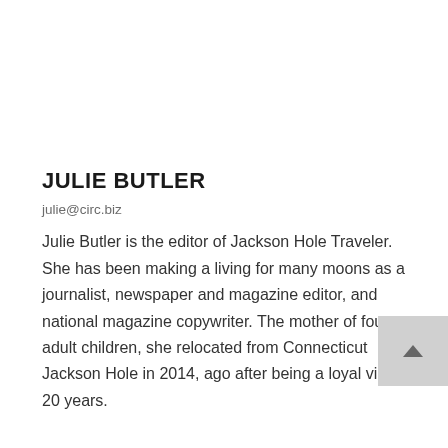JULIE BUTLER
julie@circ.biz
Julie Butler is the editor of Jackson Hole Traveler. She has been making a living for many moons as a journalist, newspaper and magazine editor, and national magazine copywriter. The mother of four adult children, she relocated from Connecticut Jackson Hole in 2014, ago after being a loyal vi for 20 years.